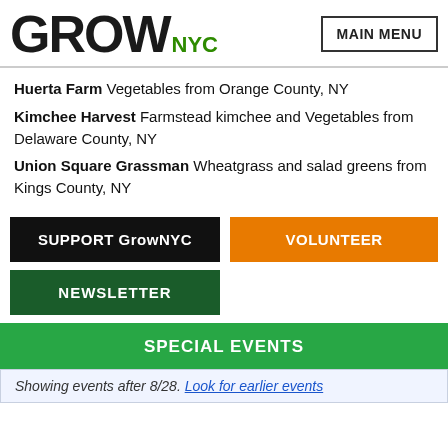GrowNYC | MAIN MENU
Huerta Farm Vegetables from Orange County, NY
Kimchee Harvest Farmstead kimchee and Vegetables from Delaware County, NY
Union Square Grassman Wheatgrass and salad greens from Kings County, NY
SUPPORT GrowNYC
VOLUNTEER
NEWSLETTER
SPECIAL EVENTS
Showing events after 8/28. Look for earlier events